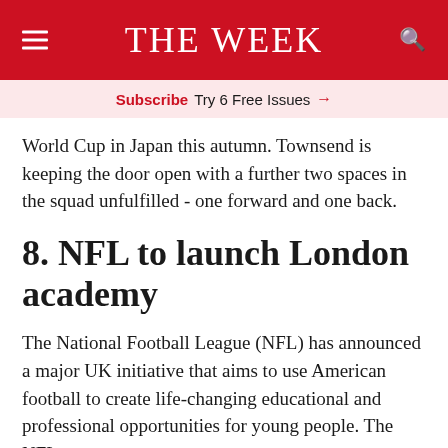THE WEEK
Subscribe  Try 6 Free Issues →
World Cup in Japan this autumn. Townsend is keeping the door open with a further two spaces in the squad unfulfilled - one forward and one back.
8. NFL to launch London academy
The National Football League (NFL) has announced a major UK initiative that aims to use American football to create life-changing educational and professional opportunities for young people. The NFL